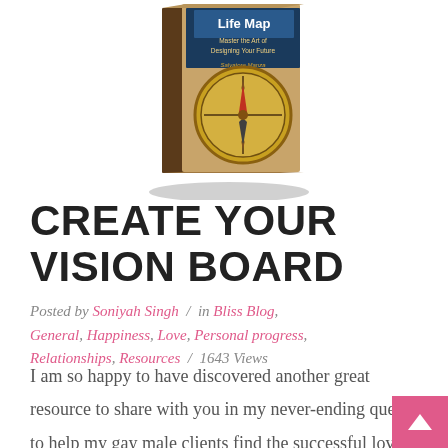[Figure (photo): Book cover of 'Life Map: Master the Art of Designing Your Future' by Salvatore Manza, shown as a 3D book with a compass image on the cover, displayed on a white background with a shadow.]
CREATE YOUR VISION BOARD
Posted by Soniyah Singh / in Bliss Blog, General, Happiness, Love, Personal progress, Relationships, Resources / 1643 Views
I am so happy to have discovered another great resource to share with you in my never-ending quest to help my gay male clients find the successful love relationship they and all gay men deserve. It's a